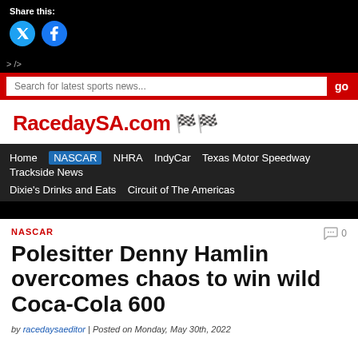Share this:
[Figure (screenshot): Twitter and Facebook share buttons on black background]
> />
Search for latest sports news... go
[Figure (logo): RacedaySA.com logo with checkered flags]
Home NASCAR NHRA IndyCar Texas Motor Speedway Trackside News Dixie's Drinks and Eats Circuit of The Americas
NASCAR
Polesitter Denny Hamlin overcomes chaos to win wild Coca-Cola 600
by racedaysaeditor | Posted on Monday, May 30th, 2022